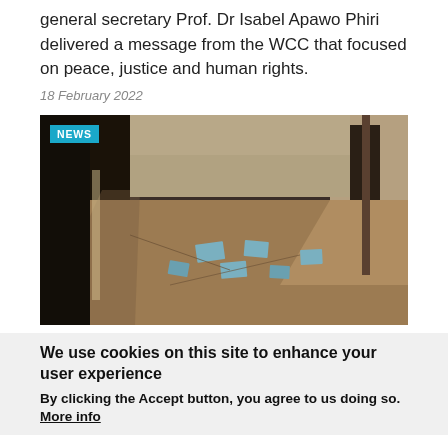general secretary Prof. Dr Isabel Apawo Phiri delivered a message from the WCC that focused on peace, justice and human rights.
18 February 2022
[Figure (photo): Interior of a dimly lit room with sandy floor, cracked concrete, scattered blue tiles remnants, dark doorway on the left and an open door on the right letting in light. A cyan NEWS badge overlay appears in the top-left corner.]
We use cookies on this site to enhance your user experience
By clicking the Accept button, you agree to us doing so. More info